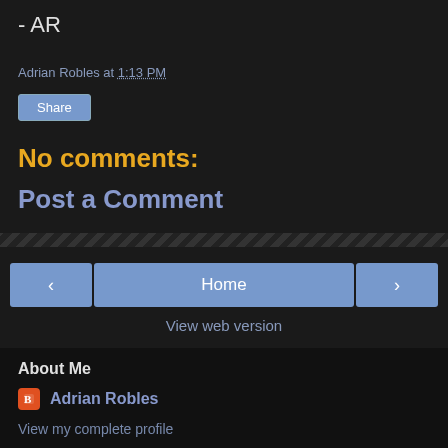- AR
Adrian Robles at 1:13 PM
Share
No comments:
Post a Comment
< Home >
View web version
About Me
Adrian Robles
View my complete profile
Powered by Blogger.